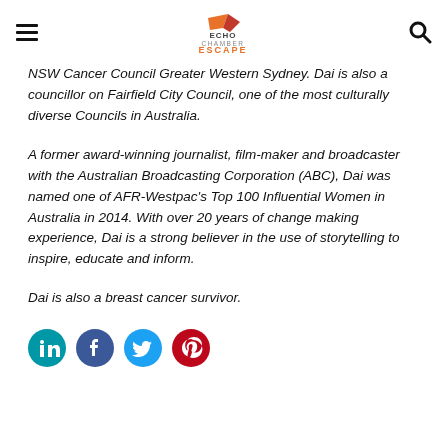Echo Chamber Escape (logo)
NSW Cancer Council Greater Western Sydney. Dai is also a councillor on Fairfield City Council, one of the most culturally diverse Councils in Australia.
A former award-winning journalist, film-maker and broadcaster with the Australian Broadcasting Corporation (ABC), Dai was named one of AFR-Westpac's Top 100 Influential Women in Australia in 2014. With over 20 years of change making experience, Dai is a strong believer in the use of storytelling to inspire, educate and inform.
Dai is also a breast cancer survivor.
[Figure (other): Social media icons: LinkedIn (teal), Facebook (blue), Twitter (teal/blue), Pinterest (red)]